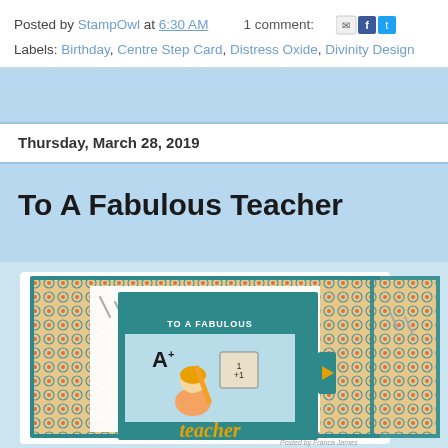Posted by StampOwl at 6:30 AM    1 comment:
Labels: Birthday, Centre Step Card, Distress Oxide, Divinity Design
Thursday, March 28, 2019
To A Fabulous Teacher
[Figure (photo): Handmade greeting card 'To A Fabulous Teacher' featuring a girl with a pencil, teal and patterned paper, with 'teacher' die-cut word and a centre step card format. Partially visible second card to the right.]